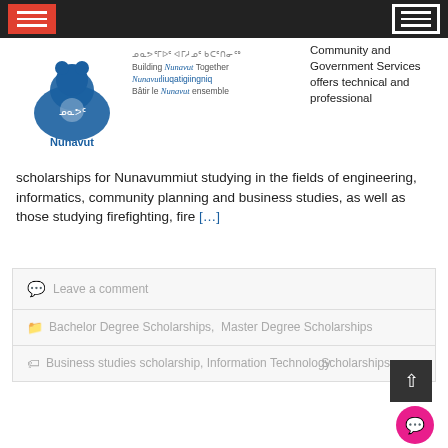[Figure (logo): Nunavut Government logo with polar bear and Building Nunavut Together tagline in English, Inuktitut, and French]
Community and Government Services offers technical and professional scholarships for Nunavummiut studying in the fields of engineering, informatics, community planning and business studies, as well as those studying firefighting, fire [...]
Leave a comment
Bachelor Degree Scholarships, Master Degree Scholarships
Business studies scholarship, Information Technology Scholarships